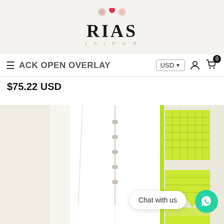[Figure (screenshot): RIAS Jaipur brand logo with red yarn ball dot above text, and decorative yarn balls top center, on light beige background]
ACK OPEN OVERLAY — USD ☰ 👤 🛒 0
$75.22 USD
[Figure (photo): Close-up photo of white fabric garment with neon yellow-green embroidered/printed border design hanging against a light background]
Chat with us